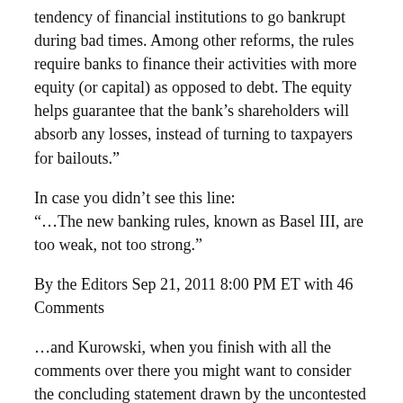tendency of financial institutions to go bankrupt during bad times. Among other reforms, the rules require banks to finance their activities with more equity (or capital) as opposed to debt. The equity helps guarantee that the bank’s shareholders will absorb any losses, instead of turning to taxpayers for bailouts.”
In case you didn’t see this line:
“…The new banking rules, known as Basel III, are too weak, not too strong.”
By the Editors Sep 21, 2011 8:00 PM ET with 46 Comments
…and Kurowski, when you finish with all the comments over there you might want to consider the concluding statement drawn by the uncontested “American” Bloomberg editors … which is:
“The U.S. would do well to follow the U.K.’s example and impose a 20 percent risk-weighted capital requirement for the biggest